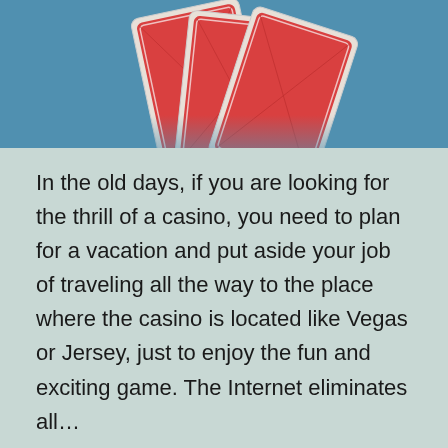[Figure (photo): Playing cards fanned out on a blue background, showing red card backs.]
In the old days, if you are looking for the thrill of a casino, you need to plan for a vacation and put aside your job of traveling all the way to the place where the casino is located like Vegas or Jersey, just to enjoy the fun and exciting game. The Internet eliminates all…
Lanjutkan membaca
Diterbitkan April 24, 2021
Dikategorikan dalam casino
Ditandai benefit of casino, casino gambling, casino site,